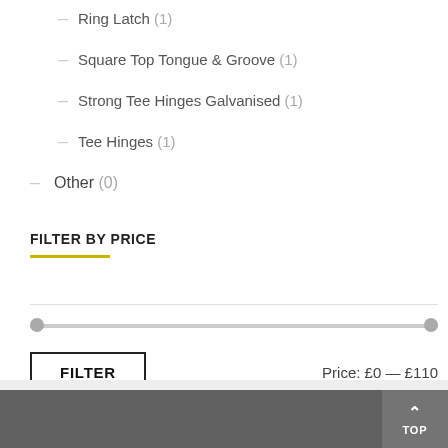Ring Latch (1)
Square Top Tongue & Groove (1)
Strong Tee Hinges Galvanised (1)
Tee Hinges (1)
Other (0)
FILTER BY PRICE
Price: £0 — £110
TOP